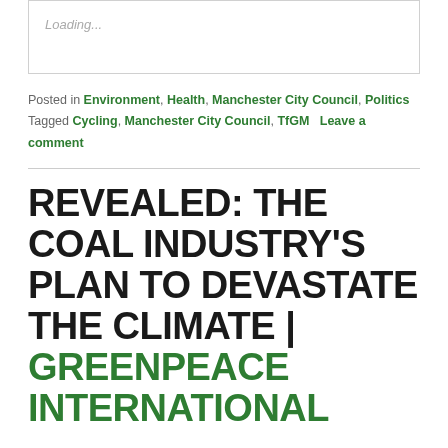Loading...
Posted in Environment, Health, Manchester City Council, Politics   Tagged Cycling, Manchester City Council, TfGM   Leave a comment
REVEALED: THE COAL INDUSTRY'S PLAN TO DEVASTATE THE CLIMATE | GREENPEACE INTERNATIONAL